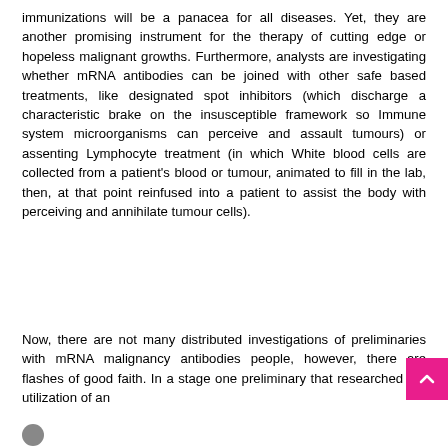immunizations will be a panacea for all diseases. Yet, they are another promising instrument for the therapy of cutting edge or hopeless malignant growths. Furthermore, analysts are investigating whether mRNA antibodies can be joined with other safe based treatments, like designated spot inhibitors (which discharge a characteristic brake on the insusceptible framework so Immune system microorganisms can perceive and assault tumours) or assenting Lymphocyte treatment (in which White blood cells are collected from a patient's blood or tumour, animated to fill in the lab, then, at that point reinfused into a patient to assist the body with perceiving and annihilate tumour cells).
Now, there are not many distributed investigations of preliminaries with mRNA malignancy antibodies people, however, there are flashes of good faith. In a stage one preliminary that researched the utilization of an